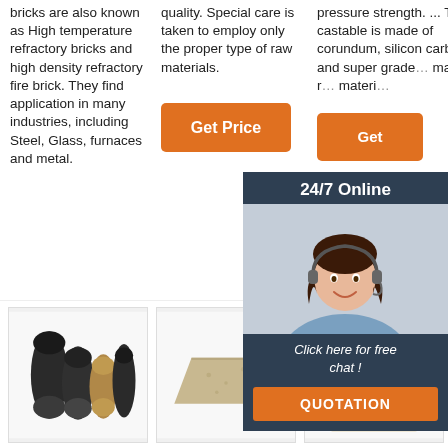bricks are also known as High temperature refractory bricks and high density refractory fire brick. They find application in many industries, including Steel, Glass, furnaces and metal.
quality. Special care is taken to employ only the proper type of raw materials.
pressure strength. ... The castable is made of corundum, silicon carbide and super grade... main raw materials.
[Figure (other): Orange 'Get Price' button]
[Figure (other): Orange 'Get Price' button (partially obscured by overlay)]
[Figure (other): 24/7 Online chat overlay with customer service representative photo, 'Click here for free chat!' text, and QUOTATION button]
[Figure (other): Orange 'Get Price' button below column 1]
[Figure (photo): Product photo: black cylindrical refractory components]
[Figure (photo): Product photo: beige/cream refractory brick]
[Figure (other): TOP logo and honeycomb refractory brick product photo]